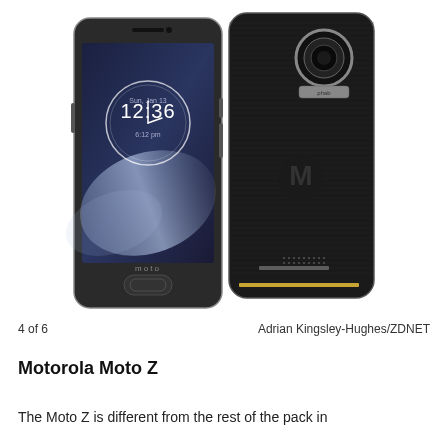[Figure (photo): Motorola Moto Z smartphone shown from front and back. Front view shows the screen with a clock reading 12:36, and the back view shows the textured black back panel with Motorola logo, camera ring, and connector pins at the bottom.]
4 of 6    Adrian Kingsley-Hughes/ZDNET
Motorola Moto Z
The Moto Z is different from the rest of the pack in